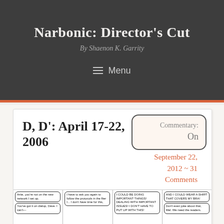Narbonic: Director's Cut
By Shaenon K. Garrity
Menu
D, D': April 17-22, 2006
Commentary: On
September 22, 2012 ~ 31 Comments
[Figure (illustration): Comic strip panels showing characters speaking with dialogue about network protocols and important things]